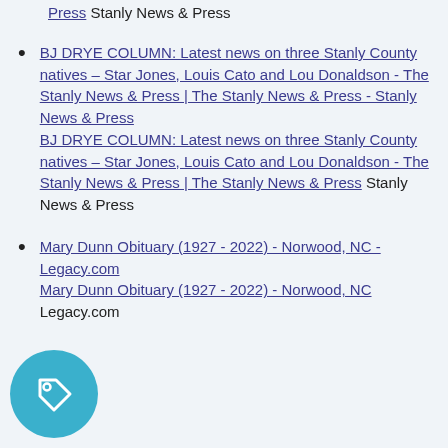Press  Stanly News & Press
BJ DRYE COLUMN: Latest news on three Stanly County natives – Star Jones, Louis Cato and Lou Donaldson - The Stanly News & Press | The Stanly News & Press - Stanly News & Press  BJ DRYE COLUMN: Latest news on three Stanly County natives – Star Jones, Louis Cato and Lou Donaldson - The Stanly News & Press | The Stanly News & Press  Stanly News & Press
Mary Dunn Obituary (1927 - 2022) - Norwood, NC - Legacy.com  Mary Dunn Obituary (1927 - 2022) - Norwood, NC  Legacy.com